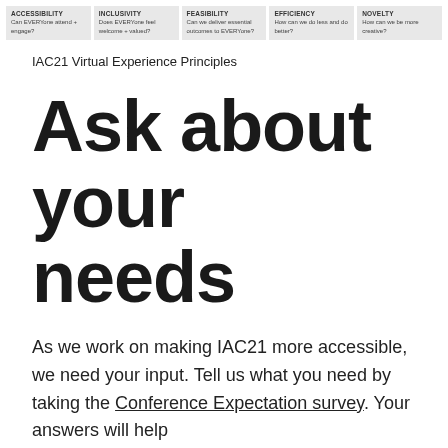[Figure (infographic): Five principle boxes in a row: ACCESSIBILITY (Can EVERYone attend + engage?), INCLUSIVITY (Does EVERYone feel welcome + valued?), FEASIBILITY (Can we deliver essential outcomes to EVERYone?), EFFICIENCY (How can we do less and do better?), NOVELTY (How can we be more creative?)]
IAC21 Virtual Experience Principles
Ask about your needs
As we work on making IAC21 more accessible, we need your input. Tell us what you need by taking the Conference Expectation survey. Your answers will help